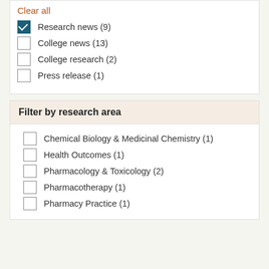Clear all
Research news (9) [checked]
College news (13)
College research (2)
Press release (1)
Filter by research area
Chemical Biology & Medicinal Chemistry (1)
Health Outcomes (1)
Pharmacology & Toxicology (2)
Pharmacotherapy (1)
Pharmacy Practice (1)